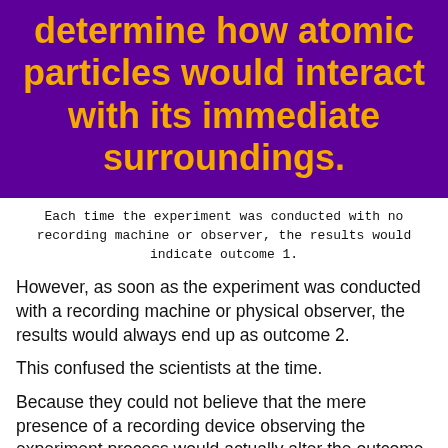determine how atomic particles would interact with its immediate surroundings.
Each time the experiment was conducted with no recording machine or observer, the results would indicate outcome 1.
However, as soon as the experiment was conducted with a recording machine or physical observer, the results would always end up as outcome 2.
This confused the scientists at the time.
Because they could not believe that the mere presence of a recording device observing the experiment process would actually alter the outcome of the experiment...